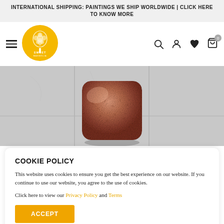INTERNATIONAL SHIPPING: PAINTINGS WE SHIP WORLDWIDE | CLICK HERE TO KNOW MORE
[Figure (logo): Sweet Magnolia circular yellow logo with tree illustration and text 'SWEET MAGNOLIA']
[Figure (photo): A rose gold / copper metallic sculptural cube-like object on a grey marble tiled background]
COOKIE POLICY
This website uses cookies to ensure you get the best experience on our website. If you continue to use our website, you agree to the use of cookies.
Click here to view our Privacy Policy and Terms
ACCEPT